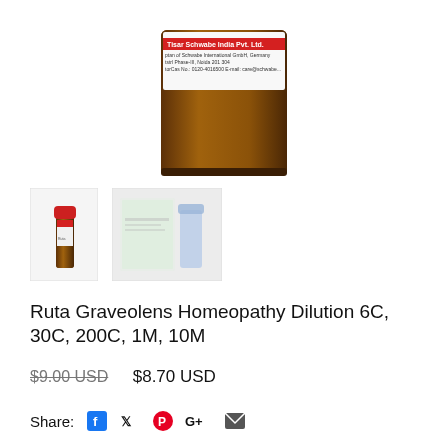[Figure (photo): Main product photo of Dr. Schwabe India Pvt. Ltd. homeopathy dilution bottle (amber glass) with red label, cropped at top]
[Figure (photo): Thumbnail 1: Small amber bottle with red cap]
[Figure (photo): Thumbnail 2: Bottle with box/packaging, light blue and green tones]
Ruta Graveolens Homeopathy Dilution 6C, 30C, 200C, 1M, 10M
$9.00 USD $8.70 USD
Share: